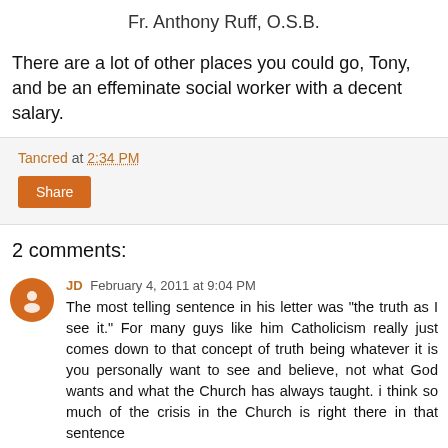Fr. Anthony Ruff, O.S.B.
There are a lot of other places you could go, Tony, and be an effeminate social worker with a decent salary.
Tancred at 2:34 PM
Share
2 comments:
JD February 4, 2011 at 9:04 PM
The most telling sentence in his letter was "the truth as I see it." For many guys like him Catholicism really just comes down to that concept of truth being whatever it is you personally want to see and believe, not what God wants and what the Church has always taught. i think so much of the crisis in the Church is right there in that sentence